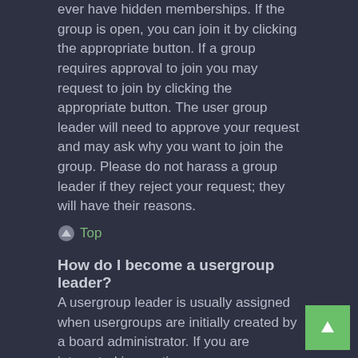ever have hidden memberships. If the group is open, you can join it by clicking the appropriate button. If a group requires approval to join you may request to join by clicking the appropriate button. The user group leader will need to approve your request and may ask why you want to join the group. Please do not harass a group leader if they reject your request; they will have their reasons.
Top
How do I become a usergroup leader?
A usergroup leader is usually assigned when usergroups are initially created by a board administrator. If you are interested in creating a usergroup, your first point of contact should be an administrator; try sending a private message.
Top
Why do some usergroups appear in a different colour?